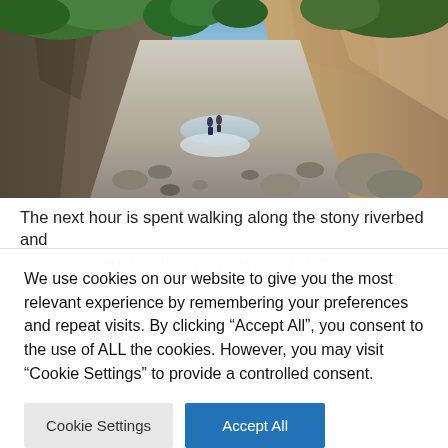[Figure (photo): A narrow rocky gorge/canyon with tall vertical cliff walls on either side. A stony riverbed runs through the center with two hikers visible in the middle distance. Lush green trees and shrubs grow at the top edges of the cliffs. Bright sunlight illuminates the scene.]
The next hour is spent walking along the stony riverbed and criss-crossing the stream on stepping stones. It's not a place...
We use cookies on our website to give you the most relevant experience by remembering your preferences and repeat visits. By clicking “Accept All”, you consent to the use of ALL the cookies. However, you may visit "Cookie Settings" to provide a controlled consent.